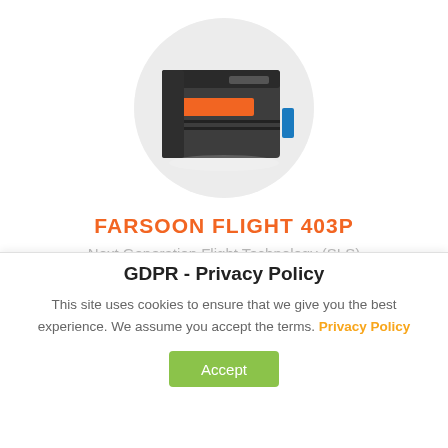[Figure (photo): Farsoon Flight 403P industrial SLS 3D printer shown inside a circular crop, dark grey enclosure with orange accent stripe]
FARSOON FLIGHT 403P
Next Generation Flight Technology (SLS)
[Figure (other): Orange gradient button, partially visible]
GDPR - Privacy Policy
This site uses cookies to ensure that we give you the best experience. We assume you accept the terms. Privacy Policy
Accept